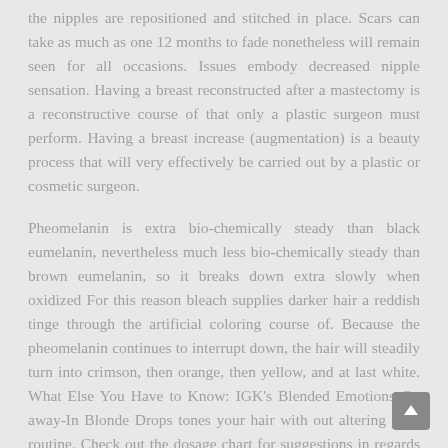the nipples are repositioned and stitched in place. Scars can take as much as one 12 months to fade nonetheless will remain seen for all occasions. Issues embody decreased nipple sensation. Having a breast reconstructed after a mastectomy is a reconstructive course of that only a plastic surgeon must perform. Having a breast increase (augmentation) is a beauty process that will very effectively be carried out by a plastic or cosmetic surgeon.
Pheomelanin is extra bio-chemically steady than black eumelanin, nevertheless much less bio-chemically steady than brown eumelanin, so it breaks down extra slowly when oxidized For this reason bleach supplies darker hair a reddish tinge through the artificial coloring course of. Because the pheomelanin continues to interrupt down, the hair will steadily turn into crimson, then orange, then yellow, and at last white. What Else You Have to Know: IGK's Blended Emotions Go away-In Blonde Drops tones your hair with out altering your routine. Check out the dosage chart for suggestions in regards to the variety of drops based on your hair shade and level of toning